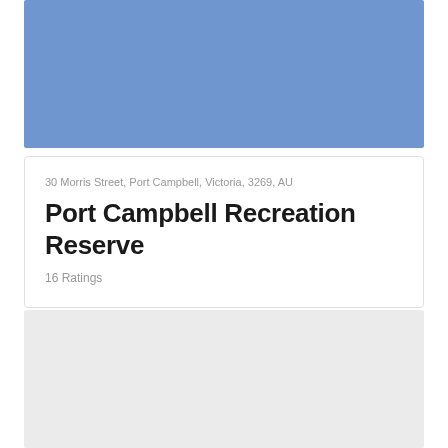[Figure (other): Blue banner image placeholder at top of card]
30 Morris Street, Port Campbell, Victoria, 3269, AU
Port Campbell Recreation Reserve
16 Ratings
[Figure (map): Light grey map area placeholder]